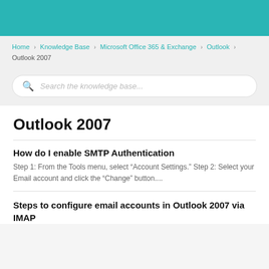Home > Knowledge Base > Microsoft Office 365 & Exchange > Outlook > Outlook 2007
[Figure (other): Search input box with magnifying glass icon and placeholder text 'Search the knowledge base...']
Outlook 2007
How do I enable SMTP Authentication
Step 1: From the Tools menu, select “Account Settings.” Step 2: Select your Email account and click the “Change” button....
Steps to configure email accounts in Outlook 2007 via IMAP